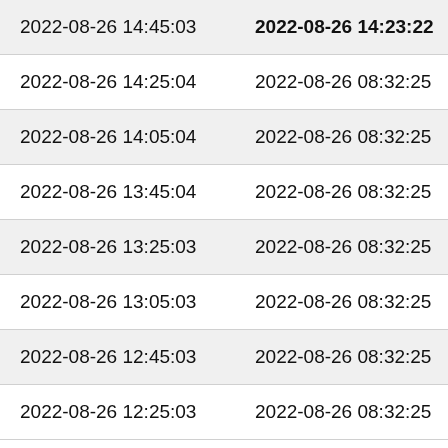| col1 | col2 | col3 |
| --- | --- | --- |
| 2022-08-26 14:45:03 | 2022-08-26 14:23:22 | cu |
| 2022-08-26 14:25:04 | 2022-08-26 08:32:25 | 20 |
| 2022-08-26 14:05:04 | 2022-08-26 08:32:25 | cu |
| 2022-08-26 13:45:04 | 2022-08-26 08:32:25 | cu |
| 2022-08-26 13:25:03 | 2022-08-26 08:32:25 | cu |
| 2022-08-26 13:05:03 | 2022-08-26 08:32:25 | cu |
| 2022-08-26 12:45:03 | 2022-08-26 08:32:25 | cu |
| 2022-08-26 12:25:03 | 2022-08-26 08:32:25 | cu |